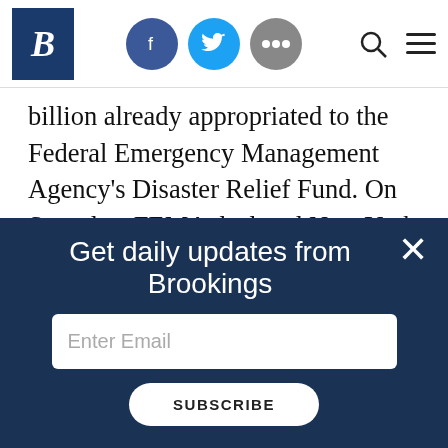Brookings Institution website navigation bar with logo, social icons (Facebook, Twitter, more), search and menu icons
billion already appropriated to the Federal Emergency Management Agency's Disaster Relief Fund. On Saturday, FEMA declared New York a “major disaster” area, enabling the state to finally tap DRF funds. Now, the White House should direct FEMA to give the same proactive guidance to all states, including those where conditions are not yet as acute as New York’s, and back states up with a
Get daily updates from Brookings
Enter Email
SUBSCRIBE